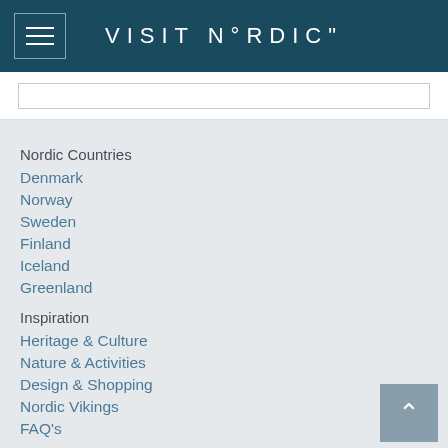VISIT N°RDIC"
Nordic Countries
Denmark
Norway
Sweden
Finland
Iceland
Greenland
Inspiration
Heritage & Culture
Nature & Activities
Design & Shopping
Nordic Vikings
FAQ's